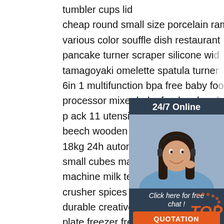tumbler cups lid
cheap round small size porcelain ramekin
various color souffle dish restaurant
pancake turner scraper silicone wi…
tamagoyaki omelette spatula turne…
6in 1 multifunction bpa free baby fo…
processor mixer baby food maker …
p ack 11 utensils set baking silicon…
beech wooden handle baking spatu…
18kg 24h automatic mini ice maker…
small cubes making machine quick…
machine milk tea shop home 2 202…
crusher spices machine wholesale herb grinder
durable creative food grade plastic storage
plate freezer fresh stackable preservation
magic elastic cling film food tray
12charger plate customized logo decal printing…
[Figure (infographic): 24/7 Online chat widget with a woman wearing a headset, dark background, Click here for free chat text, and QUOTATION orange button]